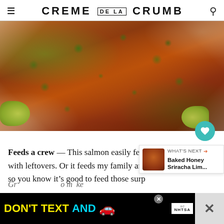≡  CREME DE LA CRUMB  🔍
[Figure (photo): Close-up photo of baked/broiled salmon fillet on aluminum foil with herbs (parsley) and lime slices, caramelized and charred on top]
Feeds a crew — This salmon easily feeds my fa... with leftovers. Or it feeds my family and my parents so you know it's good to feed those surp... too.
Gr... ...o make